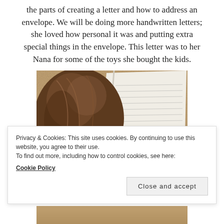the parts of creating a letter and how to address an envelope. We will be doing more handwritten letters; she loved how personal it was and putting extra special things in the envelope. This letter was to her Nana for some of the toys she bought the kids.
[Figure (photo): A child's head with brown hair leaning over an open book/notebook, lying on a tan/beige carpet. The book has white pages with lines of text.]
Privacy & Cookies: This site uses cookies. By continuing to use this website, you agree to their use.
To find out more, including how to control cookies, see here:
Cookie Policy
Close and accept